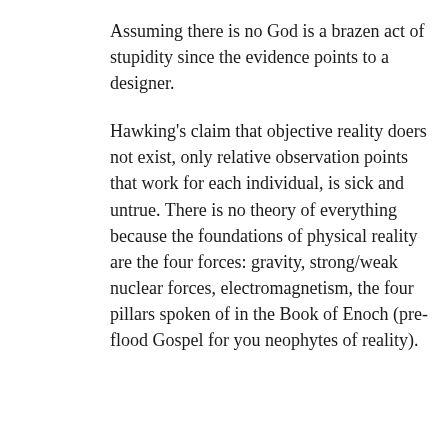Assuming there is no God is a brazen act of stupidity since the evidence points to a designer.
Hawking's claim that objective reality doers not exist, only relative observation points that work for each individual, is sick and untrue. There is no theory of everything because the foundations of physical reality are the four forces: gravity, strong/weak nuclear forces, electromagnetism, the four pillars spoken of in the Book of Enoch (pre-flood Gospel for you neophytes of reality).